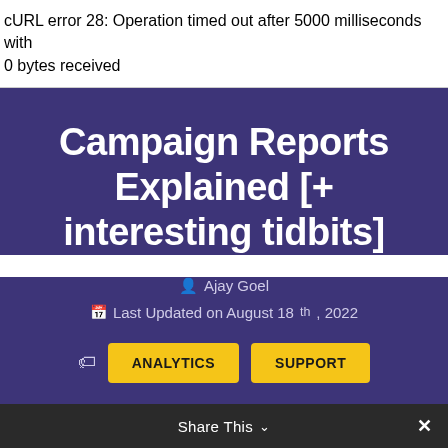cURL error 28: Operation timed out after 5000 milliseconds with 0 bytes received
Campaign Reports Explained [+ interesting tidbits]
Ajay Goel
Last Updated on August 18th, 2022
ANALYTICS  SUPPORT
Share This  ×